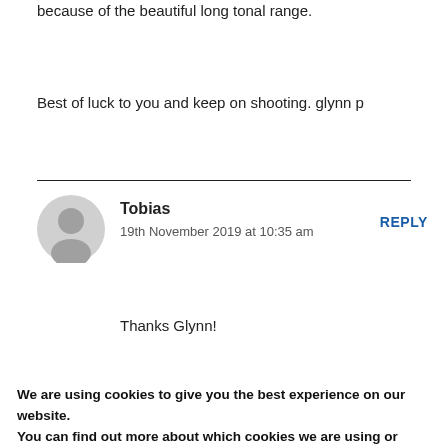because of the beautiful long tonal range.
Best of luck to you and keep on shooting. glynn p
Tobias
19th November 2019 at 10:35 am
REPLY
Thanks Glynn!
We are using cookies to give you the best experience on our website.
You can find out more about which cookies we are using or switch them off in settings.
Accept